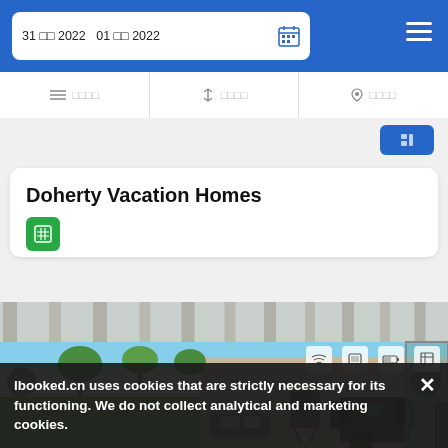31 □□ 2022  01 □□ 2022
≡≡ □□□□    ↑↓ □□□□    ◎ □□□□
Doherty Vacation Homes
[Figure (photo): Outdoor patio area of a vacation home with a covered pergola, seating area, BBQ grill, lawn, and fencing in the background]
Ibooked.cn uses cookies that are strictly necessary for its functioning. We do not collect analytical and marketing cookies.